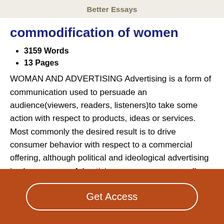Better Essays
commodification of women
3159 Words
13 Pages
WOMAN AND ADVERTISING Advertising is a form of communication used to persuade an audience(viewers, readers, listeners)to take some action with respect to products, ideas or services. Most commonly the desired result is to drive consumer behavior with respect to a commercial offering, although political and ideological advertising is also common .Advertising messages are usually paid for by various sponsors and viewed via various traditional media ; including mass media such as